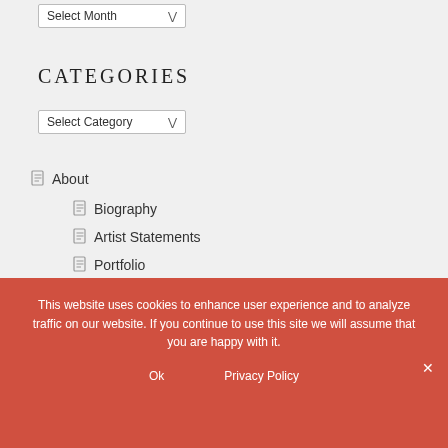Select Month
CATEGORIES
Select Category
About
Biography
Artist Statements
Portfolio
This website uses cookies to enhance user experience and to analyze traffic on our website. If you continue to use this site we will assume that you are happy with it.
Ok
Privacy Policy